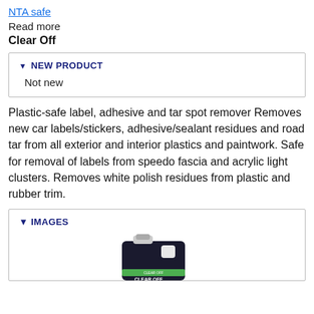NTA safe
Read more
Clear Off
NEW PRODUCT
Not new
Plastic-safe label, adhesive and tar spot remover Removes new car labels/stickers, adhesive/sealant residues and road tar from all exterior and interior plastics and paintwork. Safe for removal of labels from speedo fascia and acrylic light clusters. Removes white polish residues from plastic and rubber trim.
IMAGES
[Figure (photo): Dark plastic bottle/jug labeled CLEAR OFF with a handle, green label band visible near the bottom.]